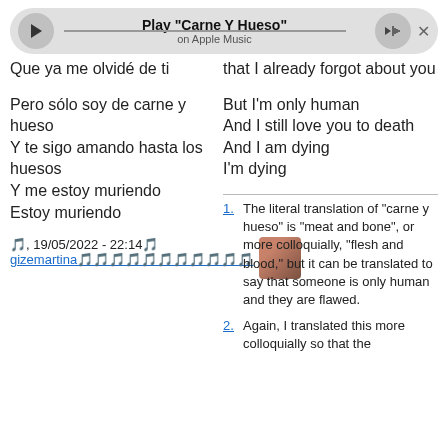[Figure (screenshot): Music player bar showing Play 'Carne Y Hueso' on Apple Music with play button, volume button, progress line, and close X]
Que ya me olvidé de ti
that I already forgot about you
Pero sólo soy de carne y hueso
Y te sigo amando hasta los huesos
Y me estoy muriendo
Estoy muriendo
But I'm only human
And I still love you to death
And I am dying
I'm dying
🎵, 19/05/2022 - 22:14🎵
gizemartina🎵🎵🎵🎵🎵🎵🎵🎵🎵🎵🎵
The literal translation of "carne y hueso" is "meat and bone", or more colloquially, "flesh and blood," but it can be translated to say that someone is only human and they are flawed.
Again, I translated this more colloquially so that the...